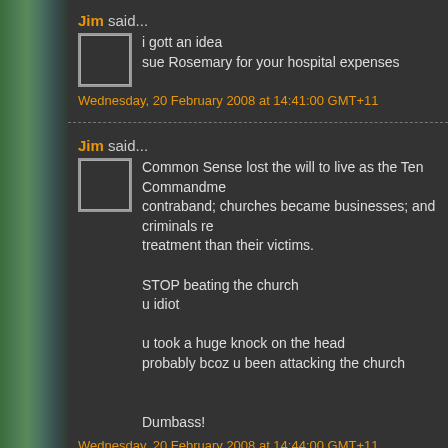Jim said...
i gott an idea
sue Rosemary for your hospital expenses
Wednesday, 20 February 2008 at 14:41:00 GMT+11
Jim said...
Common Sense lost the will to live as the Ten Commandme... contraband; churches became businesses; and criminals re... treatment than their victims.

STOP beating the church
u idiot

u took a huge knock on the head
probably bcoz u been attacking the church


Dumbass!
Wednesday, 20 February 2008 at 14:44:00 GMT+11